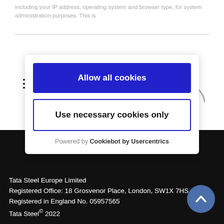including your IP address, operating system and browser type, for system administration purposes. This is
[Figure (screenshot): Hamburger menu icon (three horizontal lines) and partial arc/logo in top-right corner]
Allow all cookies
Use necessary cookies only
Powered by Cookiebot by Usercentrics
Sitemap
Tata Steel Europe Limited
Registered Office: 18 Grosvenor Place, London, SW1X 7HS
Registered in England No. 05957565
Tata Steel© 2022
[Figure (illustration): Blue circular back-to-top button with upward chevron arrow]